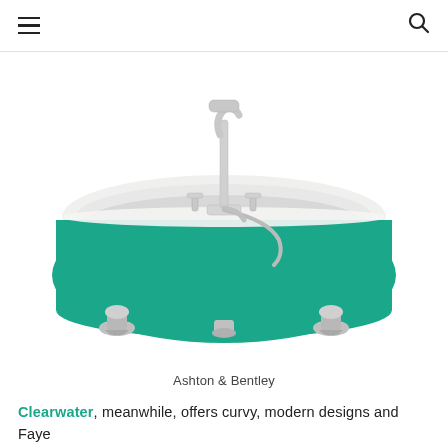≡  🔍
[Figure (photo): A freestanding clawfoot bathtub with a teal/green exterior and white interior, chrome claw feet, and chrome floor-mounted faucet with handheld shower attachment. The bath is photographed against a plain white background.]
Ashton & Bentley
Clearwater, meanwhile, offers curvy, modern designs and Faye